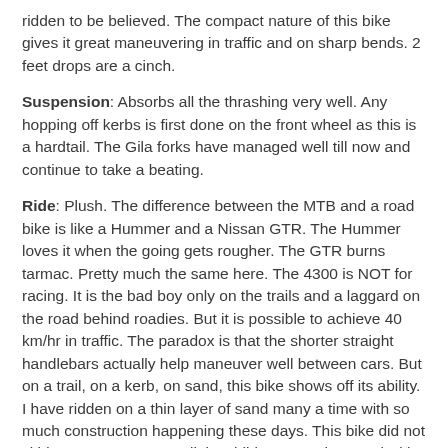ridden to be believed. The compact nature of this bike gives it great maneuvering in traffic and on sharp bends. 2 feet drops are a cinch.
Suspension: Absorbs all the thrashing very well. Any hopping off kerbs is first done on the front wheel as this is a hardtail. The Gila forks have managed well till now and continue to take a beating.
Ride: Plush. The difference between the MTB and a road bike is like a Hummer and a Nissan GTR. The Hummer loves it when the going gets rougher. The GTR burns tarmac. Pretty much the same here. The 4300 is NOT for racing. It is the bad boy only on the trails and a laggard on the road behind roadies. But it is possible to achieve 40 km/hr in traffic. The paradox is that the shorter straight handlebars actually help maneuver well between cars. But on a trail, on a kerb, on sand, this bike shows off its ability. I have ridden on a thin layer of sand many a time with so much construction happening these days. This bike did not skid even once. On a trail, it exhibits so much control with the tyre pressure set to 40 psi. On the road, I set it to 60 psi